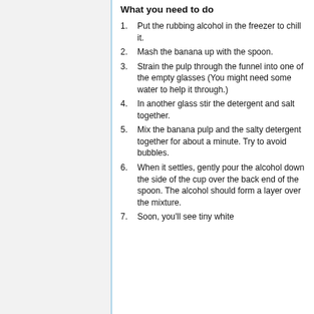What you need to do
Put the rubbing alcohol in the freezer to chill it.
Mash the banana up with the spoon.
Strain the pulp through the funnel into one of the empty glasses (You might need some water to help it through.)
In another glass stir the detergent and salt together.
Mix the banana pulp and the salty detergent together for about a minute. Try to avoid bubbles.
When it settles, gently pour the alcohol down the side of the cup over the back end of the spoon. The alcohol should form a layer over the mixture.
Soon, you'll see tiny white...